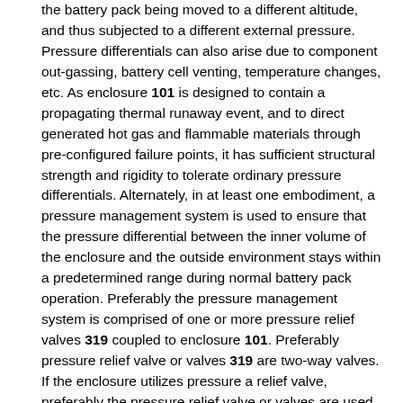the battery pack being moved to a different altitude, and thus subjected to a different external pressure. Pressure differentials can also arise due to component out-gassing, battery cell venting, temperature changes, etc. As enclosure 101 is designed to contain a propagating thermal runaway event, and to direct generated hot gas and flammable materials through pre-configured failure points, it has sufficient structural strength and rigidity to tolerate ordinary pressure differentials. Alternately, in at least one embodiment, a pressure management system is used to ensure that the pressure differential between the inner volume of the enclosure and the outside environment stays within a predetermined range during normal battery pack operation. Preferably the pressure management system is comprised of one or more pressure relief valves 319 coupled to enclosure 101. Preferably pressure relief valve or valves 319 are two-way valves. If the enclosure utilizes pressure a relief valve, preferably the pressure relief valve or valves are used not only as a means of maintaining the pressure within the enclosure within the desired operating range during normal battery pack operation, but also as enclosure failure points that are intended to allow hot gas to exit the enclosure during a